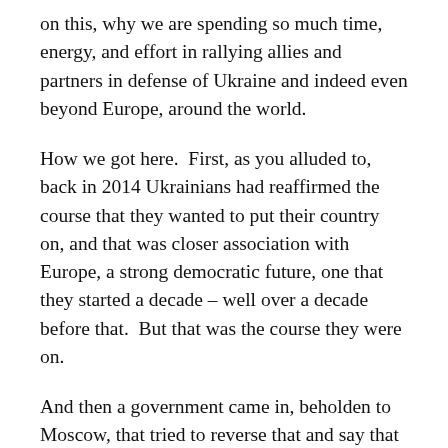on this, why we are spending so much time, energy, and effort in rallying allies and partners in defense of Ukraine and indeed even beyond Europe, around the world.
How we got here.  First, as you alluded to, back in 2014 Ukrainians had reaffirmed the course that they wanted to put their country on, and that was closer association with Europe, a strong democratic future, one that they started a decade – well over a decade before that.  But that was the course they were on.
And then a government came in, beholden to Moscow, that tried to reverse that and say that Ukraine couldn't associate with the European Union, shouldn't pursue a Western and democratic orientation.  And the result of that was that a million people took to the streets, the